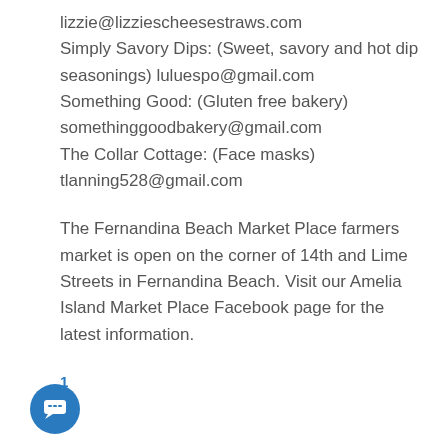lizzie@lizziescheesestraws.com
Simply Savory Dips: (Sweet, savory and hot dip seasonings) luluespo@gmail.com
Something Good: (Gluten free bakery) somethinggoodbakery@gmail.com
The Collar Cottage: (Face masks) tlanning528@gmail.com
The Fernandina Beach Market Place farmers market is open on the corner of 14th and Lime Streets in Fernandina Beach. Visit our Amelia Island Market Place Facebook page for the latest information.
1